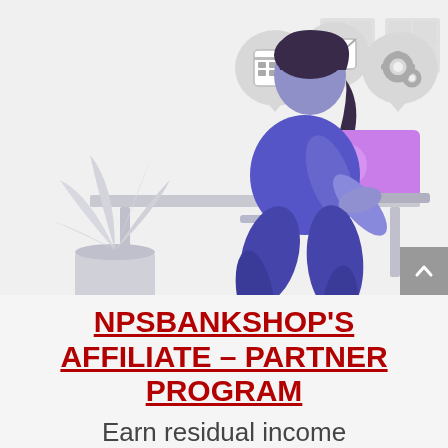[Figure (illustration): Flat-style illustration of a woman with dark hair sitting at a desk working on a purple laptop. Three speech bubble icons float above showing a calendar, envelope, and gear/settings icons. A plant is in the lower left. Background suggests an office with windows.]
NPSBANKSHOP'S AFFILIATE – PARTNER PROGRAM
Earn residual income